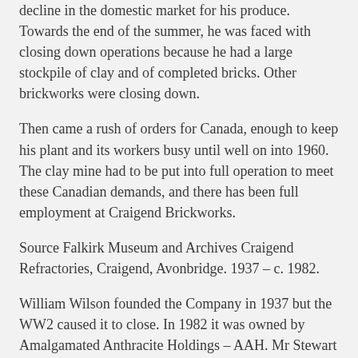decline in the domestic market for his produce. Towards the end of the summer, he was faced with closing down operations because he had a large stockpile of clay and of completed bricks. Other brickworks were closing down.
Then came a rush of orders for Canada, enough to keep his plant and its workers busy until well on into 1960.  The clay mine had to be put into full operation to meet these Canadian demands, and there has been full employment at Craigend Brickworks.
Source Falkirk Museum and Archives Craigend Refractories, Craigend, Avonbridge. 1937 – c. 1982.
William Wilson founded the Company in 1937 but the WW2 caused it to close. In 1982 it was owned by Amalgamated Anthracite Holdings – AAH. Mr Stewart and Mr Forbes Hendry provided capital for the works to be built on the site of the Craigend Colliery which produced coking coal for the Carron Company. The enterprise was a